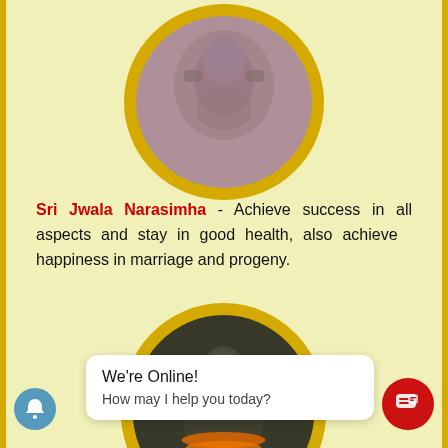[Figure (photo): Oval-framed stone relief image of Sri Jwala Narasimha deity with gold border, shown from above, partially cut at top of page]
Sri Jwala Narasimha - Achieve success in all aspects and stay in good health, also achieve happiness in marriage and progeny.
[Figure (photo): Oval-framed idol of a Hindu deity with dark coloring, orange and gold garlands, gold oval border, partially visible at bottom of page]
[Figure (screenshot): Chat widget overlay showing 'We're Online! How may I help you today?' with blue notification bell icon on left and red chat button on right]